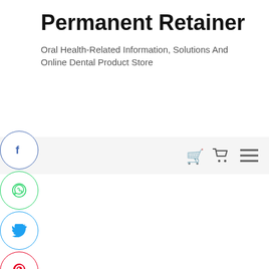Permanent Retainer
Oral Health-Related Information, Solutions And Online Dental Product Store
[Figure (infographic): Navigation bar with shopping cart icon and hamburger menu icon on a light gray background]
[Figure (infographic): Social media share buttons (circular icons): Facebook, WhatsApp, Twitter, Pinterest, LinkedIn, Tumblr]